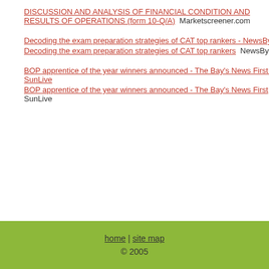DISCUSSION AND ANALYSIS OF FINANCIAL CONDITION AND RESULTS OF OPERATIONS (form 10-Q/A)  Marketscreener.com
Decoding the exam preparation strategies of CAT top rankers - NewsBytes
Decoding the exam preparation strategies of CAT top rankers  NewsBytes
BOP apprentice of the year winners announced - The Bay's News First - SunLive
BOP apprentice of the year winners announced - The Bay's News First  SunLive
home | site map
© 2005